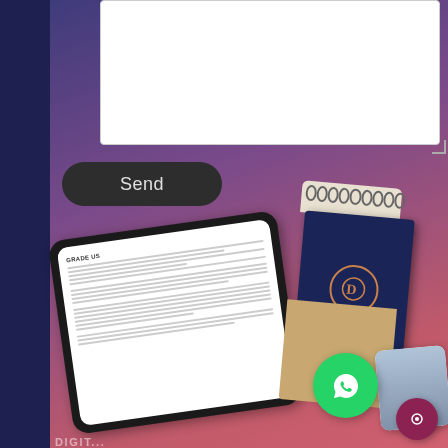[Figure (screenshot): A web form textarea (white input box) at the top, with a dark Send button below it. In the lower half, a promotional illustration showing a tablet device with document text, a spiral-bound notebook branded 'Diamond N Dresses', a WhatsApp icon, a chat bubble icon, and a partial photo card, all on a blue-to-pink gradient background.]